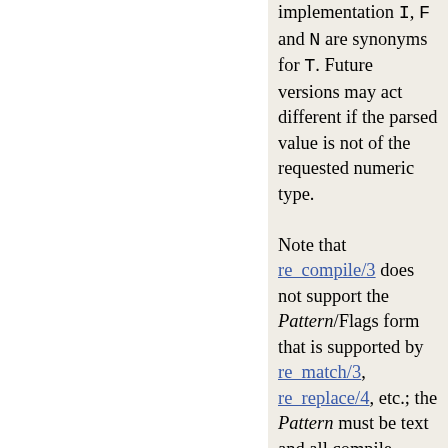implementation I, F and N are synonyms for T. Future versions may act different if the parsed value is not of the requested numeric type.

Note that re_compile/3 does not support the Pattern/Flags form that is supported by re_match/3, re_replace/4, etc.; the Pattern must be text and all compile options